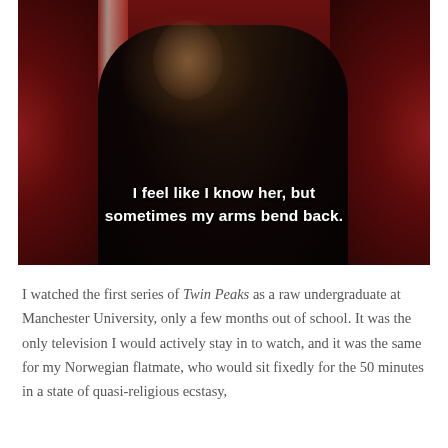[Figure (photo): A woman with blonde hair, eyes closed, head tilted back slightly, wearing a dark blazer, set against red curtains in a dim moody scene. White bold subtitle text overlaid at the bottom reads: 'I feel like I know her, but sometimes my arms bend back.']
I watched the first series of Twin Peaks as a raw undergraduate at Manchester University, only a few months out of school. It was the only television I would actively stay in to watch, and it was the same for my Norwegian flatmate, who would sit fixedly for the 50 minutes in a state of quasi-religious ecstasy,